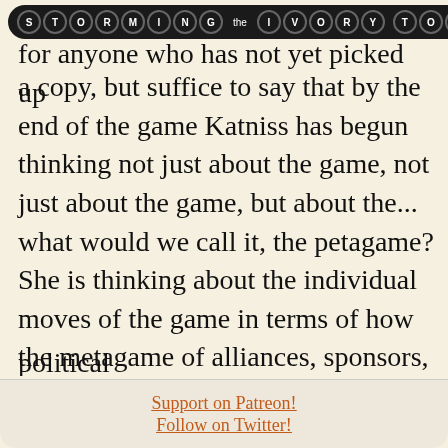STORMING THE IVORY TOWER
for anyone who has not yet picked up a copy, but suffice to say that by the end of the game Katniss has begun thinking not just about the game, not just about the game, but about the... what would we call it, the petagame? She is thinking about the individual moves of the game in terms of how the metagame of alliances, sponsors, and the transmission of supplies reflects an even higher, more sinister political...
Support on Patreon!
Follow on Twitter!